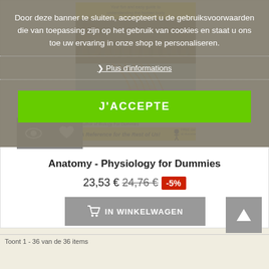[Figure (screenshot): Screenshot of an e-commerce product page for 'Anatomy - Physiology for Dummies' book with a cookie consent banner overlay in Dutch/French. The banner text reads: 'Door deze banner te sluiten, accepteert u de gebruiksvoorwaarden die van toepassing zijn op het gebruik van cookies en staat u ons toe uw ervaring in onze shop te personaliseren.' with a 'Plus d'informations' link and a green 'J'ACCEPTE' button. Below shows the book product with price 23,53 € (was 24,76 €, -5% discount) and an 'IN WINKELWAGEN' button.]
Door deze banner te sluiten, accepteert u de gebruiksvoorwaarden die van toepassing zijn op het gebruik van cookies en staat u ons toe uw ervaring in onze shop te personaliseren.
❯ Plus d'informations
J'ACCEPTE
Anatomy - Physiology for Dummies
23,53 € 24,76 € -5%
IN WINKELWAGEN
Toont 1 - 36 van de 36 items